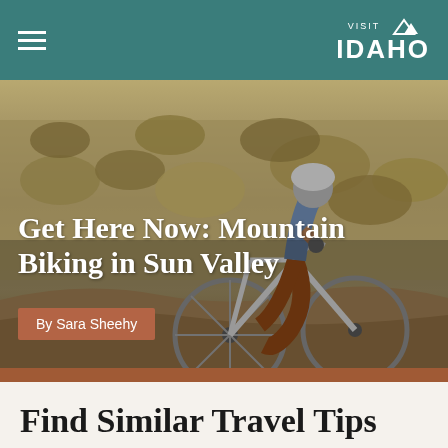VISIT IDAHO
[Figure (photo): Mountain biker riding on a dusty trail through sagebrush with text overlay 'Get Here Now: Mountain Biking in Sun Valley' by Sara Sheehy]
Get Here Now: Mountain Biking in Sun Valley
By Sara Sheehy
Find Similar Travel Tips
Mountain Biking